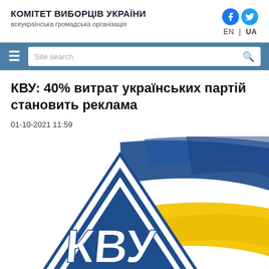КОМІТЕТ ВИБОРЦІВ УКРАЇНИ
всеукраїнська громадська організація
КВУ: 40% витрат українських партій становить реклама
01-10-2021 11:59
[Figure (logo): KVU logo with blue and yellow Ukrainian flag brush strokes and triangular badge with КВУ letters]